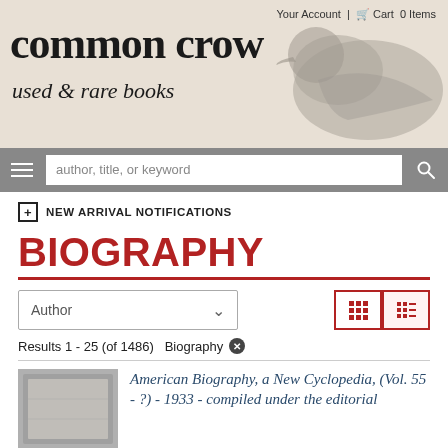[Figure (screenshot): Common Crow used & rare books website header with bird silhouette background, account/cart links, site title, search bar with menu button]
Your Account | Cart 0 Items
common crow
used & rare books
author, title, or keyword
⊞ NEW ARRIVAL NOTIFICATIONS
BIOGRAPHY
Author
Results 1 - 25 (of 1486)  Biography ✕
American Biography, a New Cyclopedia, (Vol. 55 - ?) - 1933 - compiled under the editorial